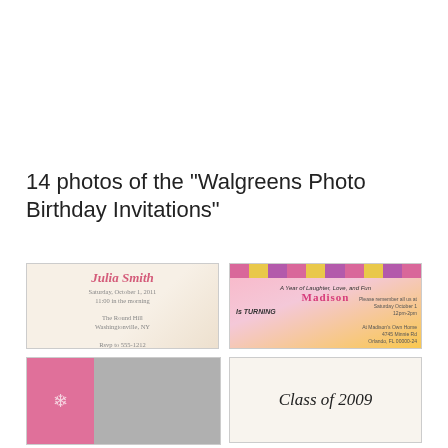14 photos of the "Walgreens Photo Birthday Invitations"
[Figure (photo): Birthday invitation card with 'Julia Smith' in cursive, tea party theme with red polka-dot teapot illustration, details for Saturday October 1, 2011]
[Figure (photo): Madison's 1st birthday invitation with Minnie Mouse, pink and gold stripes, baby photo, 'A Year of Laughter, Love, and Fun' text]
[Figure (photo): Pink birthday invitation with snowflake design on left and black-and-white photo on right]
[Figure (photo): Graduation invitation with 'Class of 2009' in cursive script on light background]